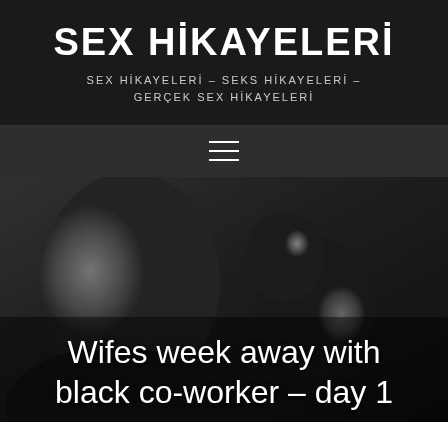SEX HİKAYELERİ
SEX HİKAYELERİ – SEKS HİKAYELERİ – GERÇEK SEX HİKAYELERİ
[Figure (photo): Dark grayscale photo of a crowd of people looking up, with a smiling middle-aged man prominent on the left side.]
Wifes week away with black co-worker – day 1